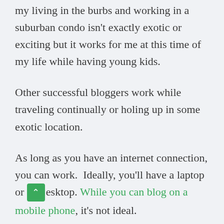my living in the burbs and working in a suburban condo isn't exactly exotic or exciting but it works for me at this time of my life while having young kids.
Other successful bloggers work while traveling continually or holing up in some exotic location.
As long as you have an internet connection, you can work.  Ideally, you'll have a laptop or desktop. While you can blog on a mobile phone, it's not ideal.